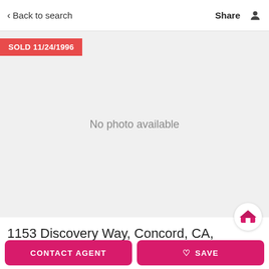< Back to search   Share
[Figure (photo): Property listing photo area — no photo available. Red badge top-left reads SOLD 11/24/1996. Gray background with centered text 'No photo available'.]
1153 Discovery Way, Concord, CA,
CONTACT AGENT
♡ SAVE